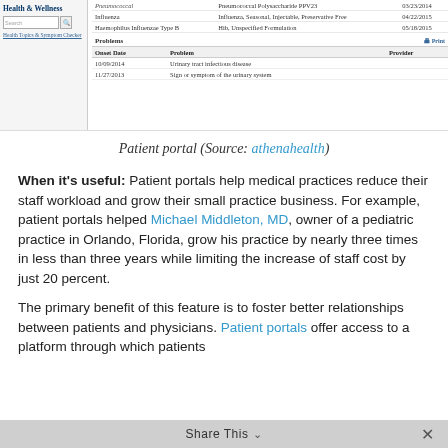[Figure (screenshot): Screenshot of a patient portal (athenahealth) showing immunization and problems sections. Sidebar shows Health & Wellness with a search box. Main area shows a table of vaccinations (Influenza, Haemophilus Influenzae Type B) with dates and a Problems table with Onset Date, Problem, Provider columns listing urinary tract issues.]
Patient portal (Source: athenahealth)
When it's useful: Patient portals help medical practices reduce their staff workload and grow their small practice business. For example, patient portals helped Michael Middleton, MD, owner of a pediatric practice in Orlando, Florida, grow his practice by nearly three times in less than three years while limiting the increase of staff cost by just 20 percent.
The primary benefit of this feature is to foster better relationships between patients and physicians. Patient portals offer access to a platform through which patients